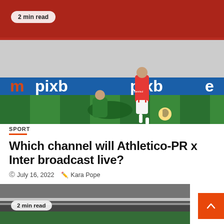[Figure (photo): Football match photo: player in red Internacional jersey dribbling past a sliding tackle from a player in green and black kit on a green pitch, with pixbet advertising boards in the background and red stadium seats]
2 min read
SPORT
Which channel will Athletico-PR x Inter broadcast live?
July 16, 2022   Kara Pope
[Figure (photo): Second article image, partially visible at the bottom of the page, showing a sports-related scene with a '2 min read' badge overlay]